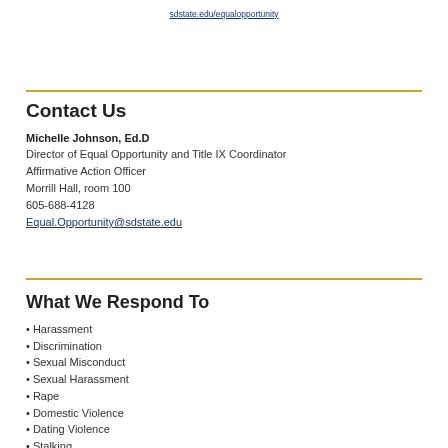sdstate.edu/equalopportunity
Contact Us
Michelle Johnson, Ed.D
Director of Equal Opportunity and Title IX Coordinator
Affirmative Action Officer
Morrill Hall, room 100
605-688-4128
Equal.Opportunity@sdstate.edu
What We Respond To
Harassment
Discrimination
Sexual Misconduct
Sexual Harassment
Rape
Domestic Violence
Dating Violence
Stalking